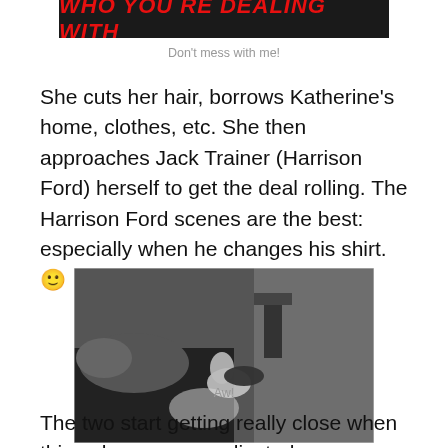[Figure (photo): Red text on dark background reading 'Who You Re Dealing With' — movie or blog graphic header]
Don't mess with me!
She cuts her hair, borrows Katherine's home, clothes, etc. She then approaches Jack Trainer (Harrison Ford) herself to get the deal rolling. The Harrison Ford scenes are the best: especially when he changes his shirt. 🙂
[Figure (photo): Black and white still from a movie showing a woman reclining on a bed, head tilted back, with a lamp and furniture visible in the background]
Aw!
The two start getting really close when things become complicated...